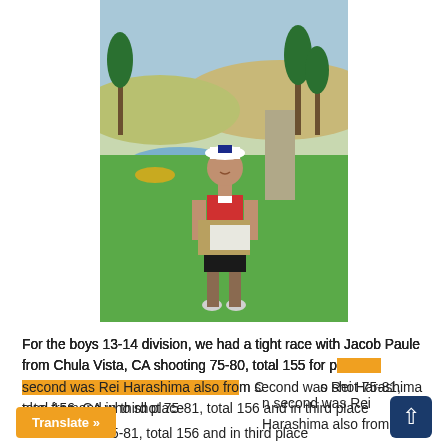[Figure (photo): Young female golfer standing on a golf course, wearing a red vest and black shorts, holding a plaque/award certificate. Palm trees and hills visible in background.]
For the boys 13-14 division, we had a tight race with Jacob Paule from Chula Vista, CA shooting 75-80, total 155 for place. In second was Rei Harashima also from CA who shot 75-81, total 156 and in third place